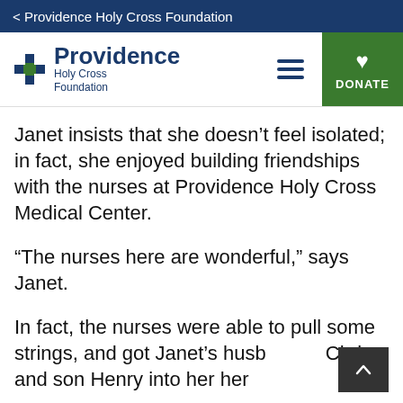< Providence Holy Cross Foundation
[Figure (logo): Providence Holy Cross Foundation logo with green cross icon and blue text, hamburger menu icon, and green DONATE button with heart icon]
Janet insists that she doesn’t feel isolated; in fact, she enjoyed building friendships with the nurses at Providence Holy Cross Medical Center.
“The nurses here are wonderful,” says Janet.
In fact, the nurses were able to pull some strings, and got Janet’s husb… Chris and son Henry into her her